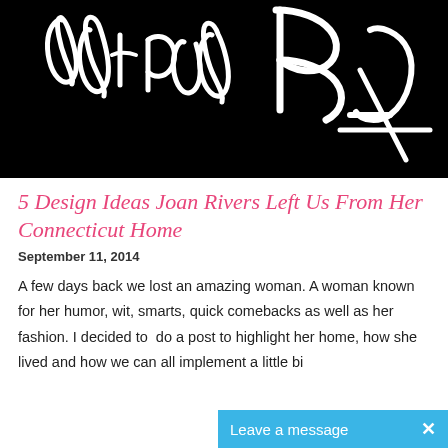[Figure (photo): Black background with large white cursive/handwritten script letters, partially cropped, showing fragments of decorative lettering]
5 Design Ideas Joan Rivers Left Us From Her Connecticut Home
September 11, 2014
A few days back we lost an amazing woman. A woman known for her humor, wit, smarts, quick comebacks as well as her fashion. I decided to  do a post to highlight her home, how she lived and how we can all implement a little bi
[Figure (screenshot): Blue chat widget bar at bottom right reading 'Leave a message' with an X close button]